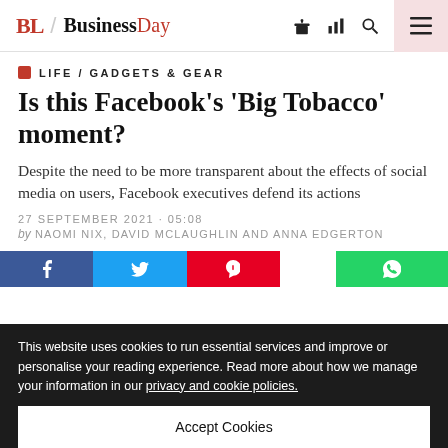BL / BusinessDay
LIFE / GADGETS & GEAR
Is this Facebook's 'Big Tobacco' moment?
Despite the need to be more transparent about the effects of social media on users, Facebook executives defend its actions
27 SEPTEMBER 2021 · 05:08
by NAOMI NIX, DAVID MCLAUGHLIN AND ANNA EDGERTON
This website uses cookies to run essential services and improve or personalise your reading experience. Read more about how we manage your information in our privacy and cookie policies.
Accept Cookies